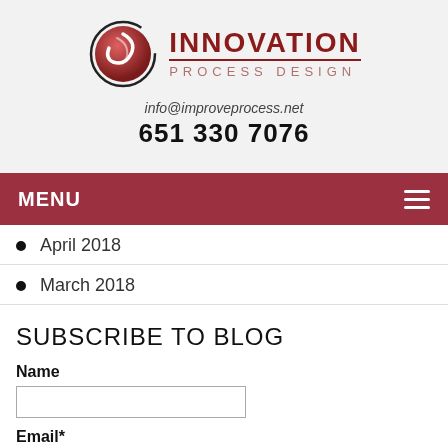[Figure (logo): Innovation Process Design logo with circular red swirl icon and company name in dark red]
info@improveprocess.net
651 330 7076
MENU
April 2018
March 2018
SUBSCRIBE TO BLOG
Name
Email*
SUBMIT